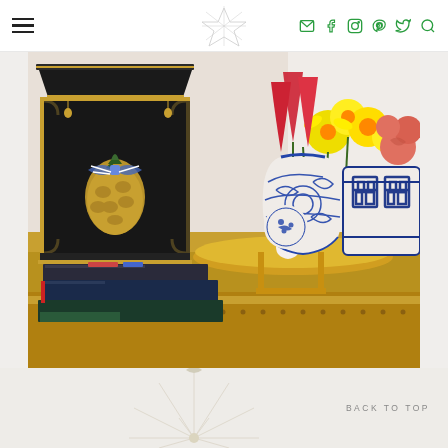Navigation header with hamburger menu, logo, and social icons (email, facebook, instagram, pinterest, twitter, search)
[Figure (photo): Interior decor photo showing a black and gold chinoiserie lantern with a gold pineapple decorated with a blue and white striped bow, stacked decorative books, blue and white ginger jars, and fresh flowers including red tulips and yellow daffodils on a gold tray table.]
BACK TO TOP